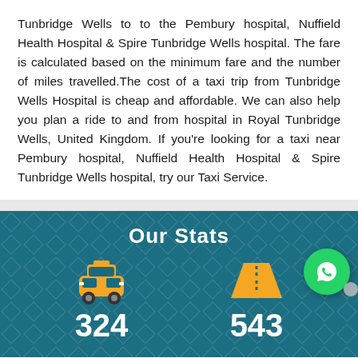Tunbridge Wells to to the Pembury hospital, Nuffield Health Hospital & Spire Tunbridge Wells hospital. The fare is calculated based on the minimum fare and the number of miles travelled.The cost of a taxi trip from Tunbridge Wells Hospital is cheap and affordable. We can also help you plan a ride to and from hospital in Royal Tunbridge Wells, United Kingdom. If you're looking for a taxi near Pembury hospital, Nuffield Health Hospital & Spire Tunbridge Wells hospital, try our Taxi Service.
Our Stats
[Figure (infographic): Stats section with taxi icon showing 324 and road icon showing 543, with a WhatsApp button]